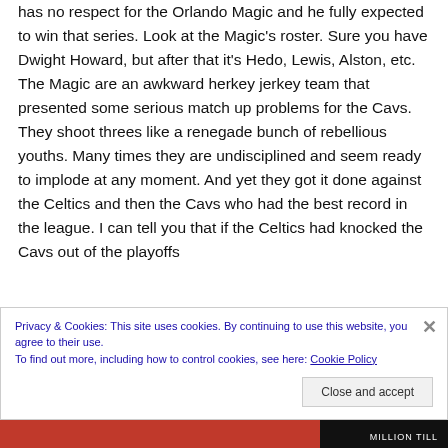has no respect for the Orlando Magic and he fully expected to win that series. Look at the Magic's roster. Sure you have Dwight Howard, but after that it's Hedo, Lewis, Alston, etc. The Magic are an awkward herkey jerkey team that presented some serious match up problems for the Cavs. They shoot threes like a renegade bunch of rebellious youths. Many times they are undisciplined and seem ready to implode at any moment. And yet they got it done against the Celtics and then the Cavs who had the best record in the league. I can tell you that if the Celtics had knocked the Cavs out of the playoffs
Privacy & Cookies: This site uses cookies. By continuing to use this website, you agree to their use. To find out more, including how to control cookies, see here: Cookie Policy
Close and accept